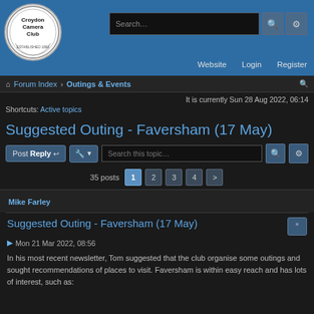[Figure (logo): Croydon Camera Club circular logo, established 1890]
Search... | Website | Login | Register
Forum Index > Outings & Events
It is currently Sun 28 Aug 2022, 06:14
Shortcuts: Active topics
Suggested Outing - Faversham (17 May)
Post Reply | Search this topic...
35 posts 1 2 3 4 >
Mike Farley
Suggested Outing - Faversham (17 May)
Mon 21 Mar 2022, 08:56
In his most recent newsletter, Tom suggested that the club organise some outings and sought recommendations of places to visit. Faversham is within easy reach and has lots of interest, such as: